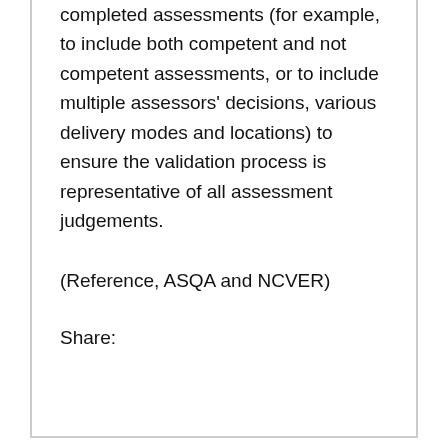completed assessments (for example, to include both competent and not competent assessments, or to include multiple assessors' decisions, various delivery modes and locations) to ensure the validation process is representative of all assessment judgements.
(Reference, ASQA and NCVER)
Share: